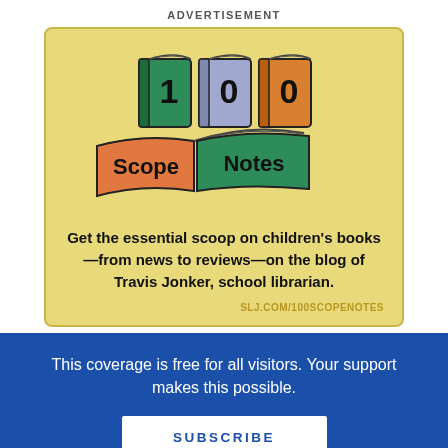ADVERTISEMENT
[Figure (illustration): 100 Scope Notes blog logo — three illustrated books showing '1', '0', '0' on their covers (green, blue/purple, orange), above two open books labeled 'Scope' (orange) and 'Notes' (green) with dark outlines, on a yellow background]
Get the essential scoop on children's books—from news to reviews—on the blog of Travis Jonker, school librarian.
SLJ.COM/100SCOPENOTES
This coverage is free for all visitors. Your support makes this possible.
SUBSCRIBE